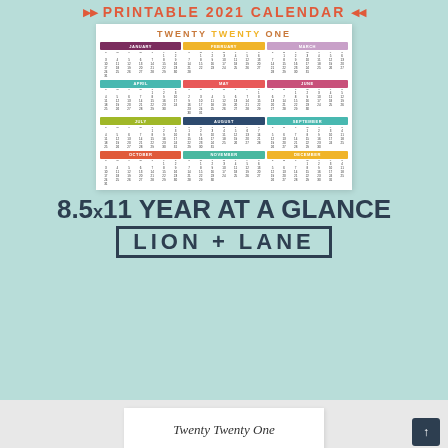PRINTABLE 2021 CALENDAR
[Figure (illustration): Preview of a 2021 printable calendar showing all 12 months in a grid layout with colorful month headers]
8.5x11 YEAR AT A GLANCE
LION + LANE
[Figure (illustration): Partial preview of a second calendar page with script text 'Twenty Twenty One']